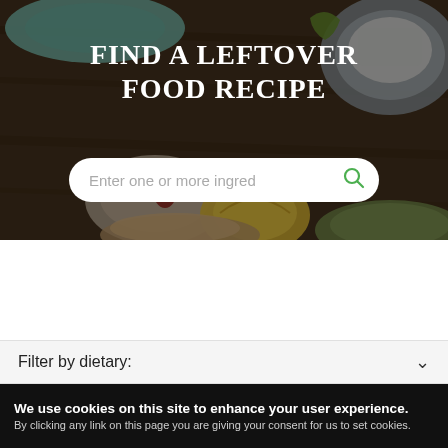[Figure (screenshot): Hero banner with food photography background (dark wooden table with plates, lemon, bread, spices) overlaid with dark tint. Contains large white uppercase title text 'FIND A LEFTOVER FOOD RECIPE' and a white rounded search bar with placeholder text 'Enter one or more ingred' and a green search icon.]
Filter by dietary:
We use cookies on this site to enhance your user experience.
By clicking any link on this page you are giving your consent for us to set cookies.